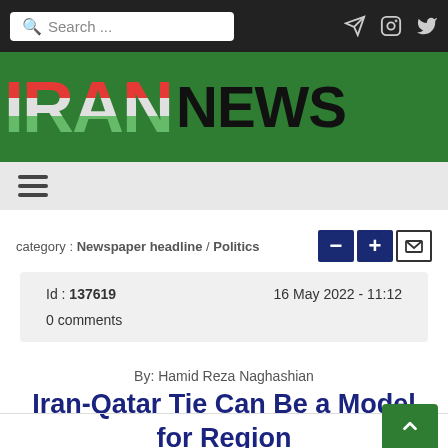Search ... [search bar] [send icon] [instagram icon] [twitter icon]
[Figure (logo): IRAN NEWS logo on green background header band]
[Figure (other): Hamburger menu icon (three horizontal bars) on light gray bar]
category : Newspaper headline / Politics
Id : 137619    16 May 2022 - 11:12    0 comments
By: Hamid Reza Naghashian
Iran-Qatar Tie Can Be a Model for Region